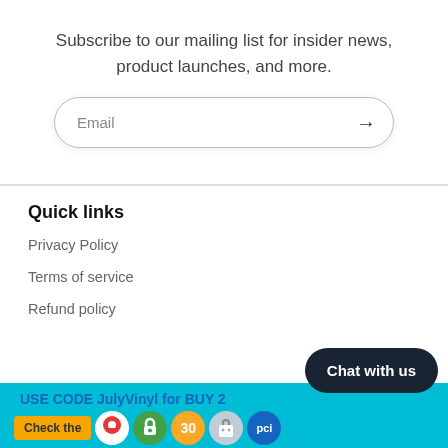Subscribe to our mailing list for insider news, product launches, and more.
Email
Quick links
Privacy Policy
Terms of service
Refund policy
Chat with us
USE CODE JulyVinyl for BUY 2... Check the...